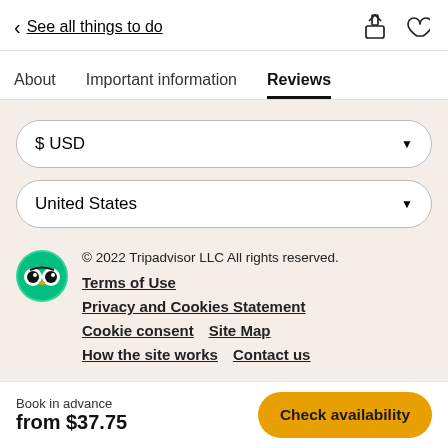< See all things to do
About   Important information   Reviews
$USD
United States
© 2022 Tripadvisor LLC All rights reserved.
Terms of Use
Privacy and Cookies Statement
Cookie consent   Site Map
How the site works   Contact us
This is the version of our website addressed to speakers of English in the United States. If you are a resident of another country or region, please select the appropriate version of Tripadvisor for your country or region in the drop-down menu.
Book in advance
from $37.75
Check availability